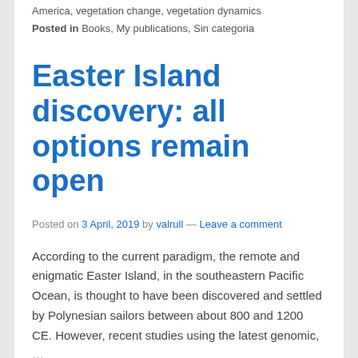Quaternary, Adaptation, resource exhaustion, dune ecology, South America, vegetation change, vegetation dynamics
Posted in Books, My publications, Sin categoria
Easter Island discovery: all options remain open
Posted on 3 April, 2019 by valrull — Leave a comment
According to the current paradigm, the remote and enigmatic Easter Island, in the southeastern Pacific Ocean, is thought to have been discovered and settled by Polynesian sailors between about 800 and 1200 CE. However, recent studies using the latest genomic,  …
Read more ›